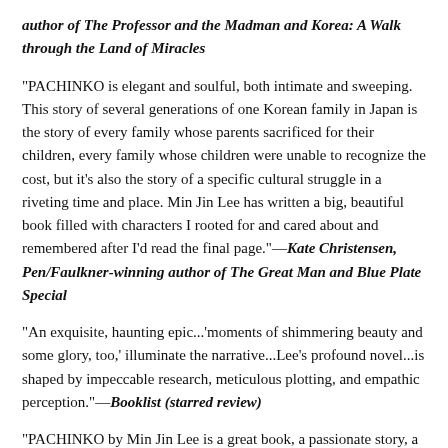author of The Professor and the Madman and Korea: A Walk through the Land of Miracles
"PACHINKO is elegant and soulful, both intimate and sweeping. This story of several generations of one Korean family in Japan is the story of every family whose parents sacrificed for their children, every family whose children were unable to recognize the cost, but it's also the story of a specific cultural struggle in a riveting time and place. Min Jin Lee has written a big, beautiful book filled with characters I rooted for and cared about and remembered after I'd read the final page."—Kate Christensen, Pen/Faulkner-winning author of The Great Man and Blue Plate Special
"An exquisite, haunting epic...'moments of shimmering beauty and some glory, too,' illuminate the narrative...Lee's profound novel...is shaped by impeccable research, meticulous plotting, and empathic perception."—Booklist (starred review)
"PACHINKO by Min Jin Lee is a great book, a passionate story, a novel of magisterial sweep. It's also fiendishly readable-the real-deal. An instant classic, a quick page-turner, and probably the best book of the year."